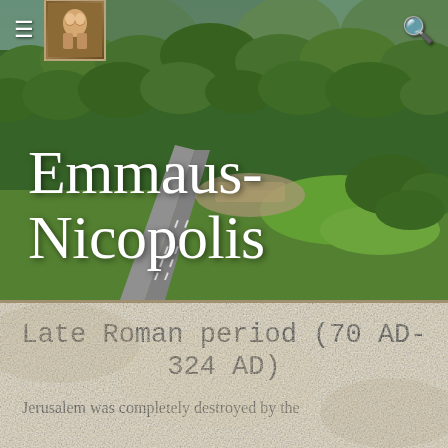[Figure (photo): Aerial photograph of Emmaus-Nicopolis area showing a highway through green forested hills and archaeological site ruins]
Emmaus-Nicopolis
Late Roman period (70 AD- 324 AD)
Jerusalem was completely destroyed by the